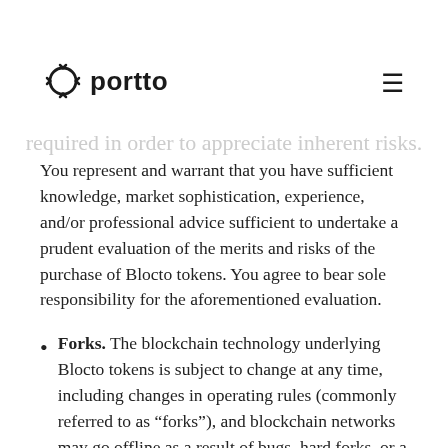portto
You represent and warrant that you have sufficient knowledge, market sophistication, experience, and/or professional advice sufficient to undertake a prudent evaluation of the merits and risks of the purchase of Blocto tokens. You agree to bear sole responsibility for the aforementioned evaluation.
Forks. The blockchain technology underlying Blocto tokens is subject to change at any time, including changes in operating rules (commonly referred to as “forks”), and blockchain networks may go offline as a result of bugs, hard forks, or a number of other unforeseeable reasons. Such changes may materially and adversely affect the value or function of Blocto tokens, or the feasibility or success of the launch of Blocto tokens. You